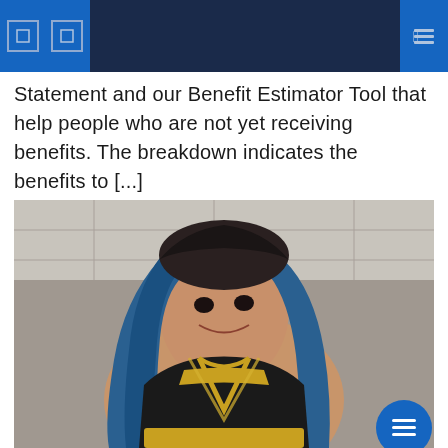[navigation bar with icons]
Statement and our Benefit Estimator Tool that help people who are not yet receiving benefits. The breakdown indicates the benefits to [...]
[Figure (photo): A woman with long blue hair wearing a gold and black wrestling outfit, smiling and looking upward, photographed indoors against a ceiling backdrop.]